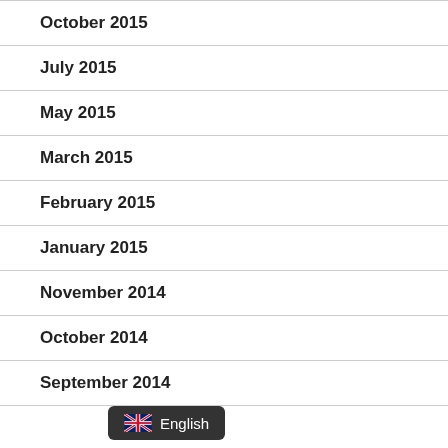October 2015
July 2015
May 2015
March 2015
February 2015
January 2015
November 2014
October 2014
September 2014
English